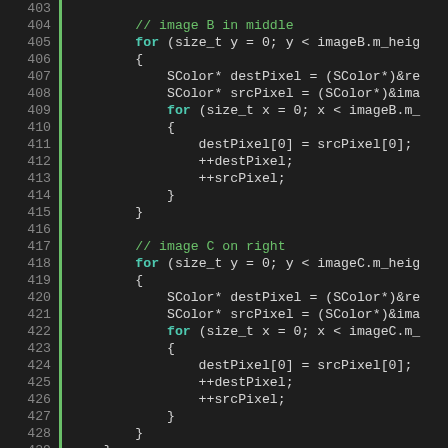[Figure (screenshot): Code editor screenshot showing C++ source code lines 403-431, with line numbers on left separated by a green vertical bar, dark background IDE theme. Code shows nested for loops copying pixel data for image B and image C, with SColor pointer operations.]